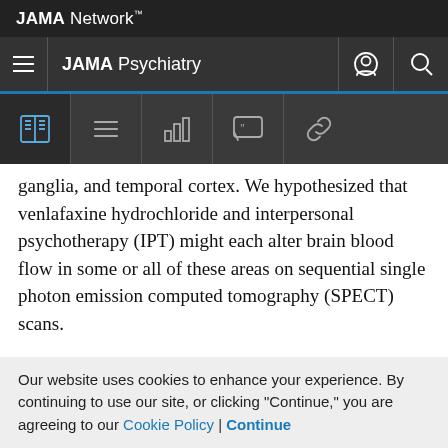JAMA Network™
JAMA Psychiatry
ganglia, and temporal cortex. We hypothesized that venlafaxine hydrochloride and interpersonal psychotherapy (IPT) might each alter brain blood flow in some or all of these areas on sequential single photon emission computed tomography (SPECT) scans.
Methods  Twenty-eight men and women aged 30 to 53 years with a DSM-IV major depressive episode, a 17-item
Our website uses cookies to enhance your experience. By continuing to use our site, or clicking "Continue," you are agreeing to our Cookie Policy | Continue